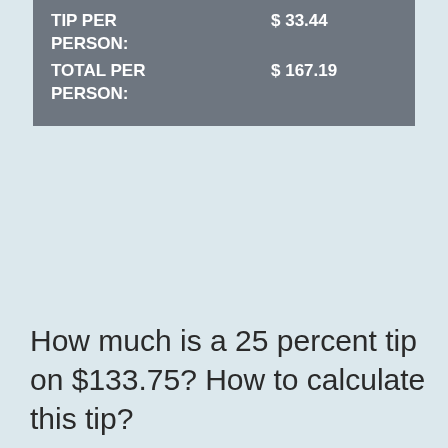| TIP PER PERSON: | $ 33.44 |
| TOTAL PER PERSON: | $ 167.19 |
How much is a 25 percent tip on $133.75? How to calculate this tip?